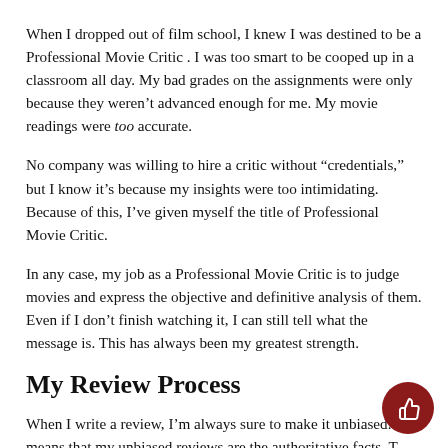When I dropped out of film school, I knew I was destined to be a Professional Movie Critic . I was too smart to be cooped up in a classroom all day. My bad grades on the assignments were only because they weren't advanced enough for me. My movie readings were too accurate.
No company was willing to hire a critic without “credentials,” but I know it’s because my insights were too intimidating. Because of this, I’ve given myself the title of Professional Movie Critic.
In any case, my job as a Professional Movie Critic is to judge movies and express the objective and definitive analysis of them. Even if I don’t finish watching it, I can still tell what the message is. This has always been my greatest strength.
My Review Process
When I write a review, I’m always sure to make it unbiased. T means that my unbiased reviews are the authoritative facts. T